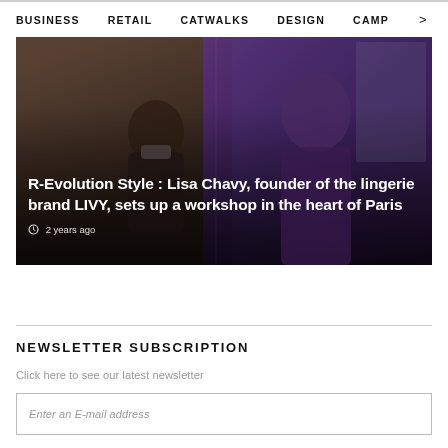BUSINESS   RETAIL   CATWALKS   DESIGN   CAMP >
[Figure (photo): Photo of two people in a store/workshop setting, one wearing a mask, overlaid with article title text. R-Evolution Style : Lisa Chavy, founder of the lingerie brand LIVY, sets up a workshop in the heart of Paris. 2 years ago.]
NEWSLETTER SUBSCRIPTION
Click here to see our latest newsletter
Enter an E-mail address